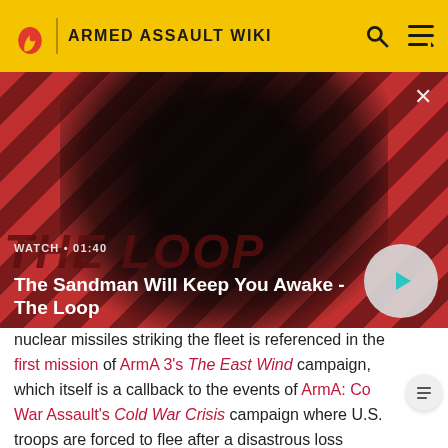ARMED ASSAULT WIKI
[Figure (screenshot): Video thumbnail for 'The Sandman Will Keep You Awake - The Loop' showing a dark figure with a bird on shoulder against diagonal red/dark stripe background. Duration shown as 01:40.]
The Sandman Will Keep You Awake - The Loop
nuclear missiles striking the fleet is referenced in the first mission of ArmA 3's The East Wind campaign, which itself is a callback to the events of ArmA: Cold War Assault's Cold War Crisis campaign where U.S. troops are forced to flee after a disastrous loss (Montignac Must Fall!).